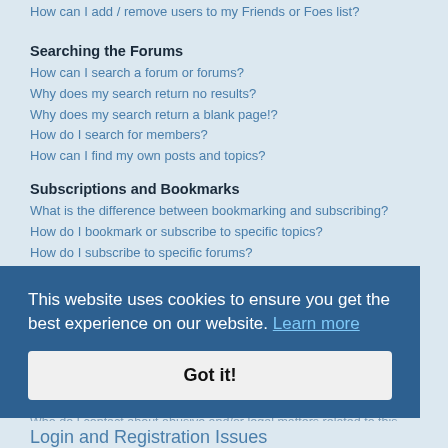How can I add / remove users to my Friends or Foes list?
Searching the Forums
How can I search a forum or forums?
Why does my search return no results?
Why does my search return a blank page!?
How do I search for members?
How can I find my own posts and topics?
Subscriptions and Bookmarks
What is the difference between bookmarking and subscribing?
How do I bookmark or subscribe to specific topics?
How do I subscribe to specific forums?
How do I remove my subscriptions?
Attachments
What attachments are allowed on this board?
How do I find all my attachments?
phpBB Issues
Why isn't X feature available?
Who do I contact about abusive and/or legal matters related to this board?
How do I contact a board administrator?
This website uses cookies to ensure you get the best experience on our website. Learn more
Got it!
Login and Registration Issues